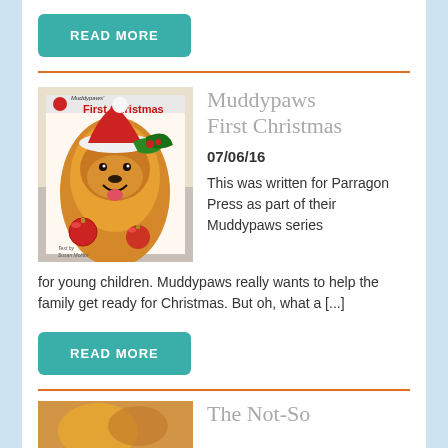READ MORE
[Figure (photo): Book cover of Muddypaws First Christmas showing a golden retriever puppy wearing a Santa hat surrounded by Christmas ornaments]
Muddypaws First Christmas
07/06/16
This was written for Parragon Press as part of their Muddypaws series for young children. Muddypaws really wants to help the family get ready for Christmas. But oh, what a [...]
READ MORE
[Figure (photo): Partial book cover image at bottom of page]
The Not-So